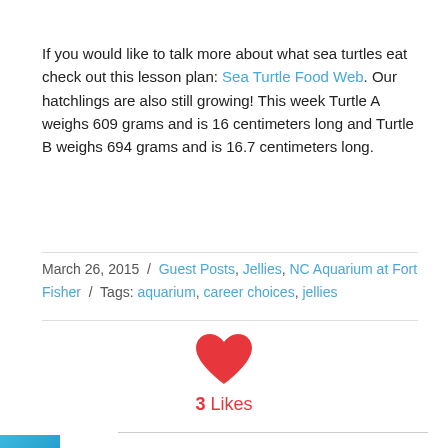If you would like to talk more about what sea turtles eat check out this lesson plan: Sea Turtle Food Web. Our hatchlings are also still growing! This week Turtle A weighs 609 grams and is 16 centimeters long and Turtle B weighs 694 grams and is 16.7 centimeters long.
March 26, 2015 / Guest Posts, Jellies, NC Aquarium at Fort Fisher / Tags: aquarium, career choices, jellies
[Figure (other): Red heart icon representing likes]
3 Likes
Share the Post
0